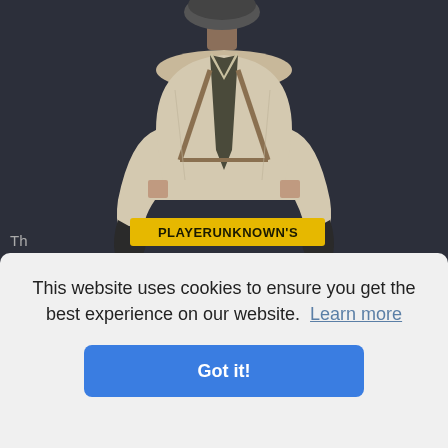[Figure (illustration): PLAYERUNKNOWN'S BATTLEGROUNDS game promotional art showing a character in a white shirt and tactical gear with the game logo below, on a dark background. The character is cropped at chest/shoulders showing combat gear and gloves.]
This website uses cookies to ensure you get the best experience on our website.  Learn more
Got it!